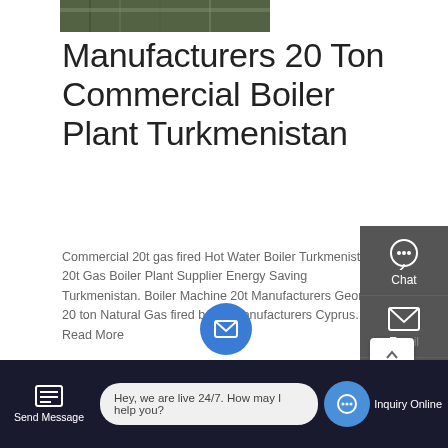[Figure (photo): Partial view of a factory/warehouse interior, top strip]
Manufacturers 20 Ton Commercial Boiler Plant Turkmenistan
Commercial 20t gas fired Hot Water Boiler Turkmenistan 20t Gas Boiler Plant Supplier Energy Saving Turkmenistan. Boiler Machine 20t Manufacturers Georgia. 20 ton Natural Gas fired boiler Manufacturers Cyprus. Read More
GET A QUOTE
[Figure (photo): Industrial boiler plant interior with yellow pipes and red machinery]
Price 8t
Chat
Email
Contact
Send Message
Hey, we are live 24/7. How may I help you?
Inquiry Online